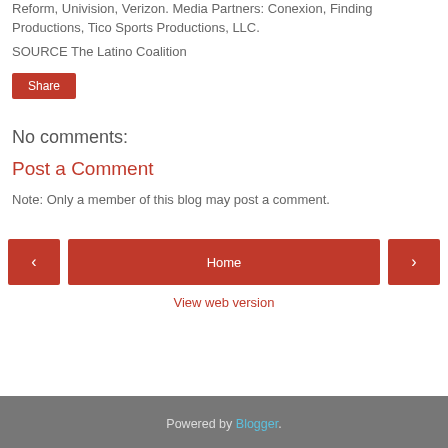Reform, Univision, Verizon. Media Partners: Conexion, Finding Productions, Tico Sports Productions, LLC.
SOURCE The Latino Coalition
[Figure (other): Red Share button]
No comments:
Post a Comment
Note: Only a member of this blog may post a comment.
[Figure (other): Navigation bar with left arrow button, Home button, and right arrow button]
View web version
Powered by Blogger.